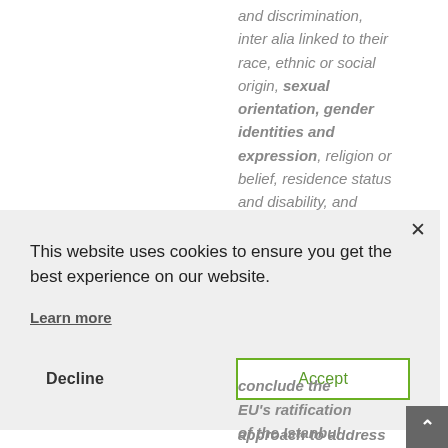and discrimination, inter alia linked to their race, ethnic or social origin, sexual orientation, gender identities and expression, religion or belief, residence status and disability, and efforts must address all forms of discrimination to achieve gender equality for all women; whereas EU policies have to reinforce their intersectional approach to address the institutional, structural and historical dimensions of discrimination; whereas applying
[Figure (screenshot): Cookie consent popup overlay with close button (×), message 'This website uses cookies to ensure you get the best experience on our website.', 'Learn more' link, and two buttons: 'Decline' and 'Accept']
conclude the EU's ratification of the Istanbul